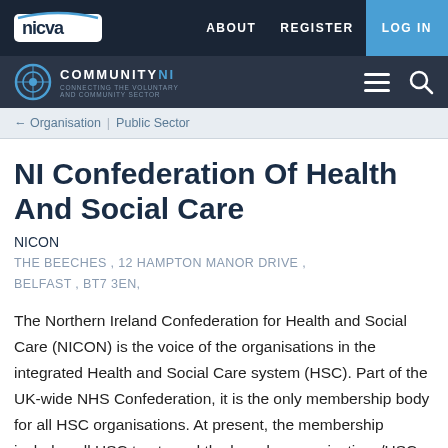NICVA | ABOUT | REGISTER | LOG IN
COMMUNITY NI
Organisation | Public Sector
NI Confederation Of Health And Social Care
NICON
THE BEECHES , 12 HAMPTON MANOR DRIVE , BELFAST , BT7 3EN,
The Northern Ireland Confederation for Health and Social Care (NICON) is the voice of the organisations in the integrated Health and Social Care system (HSC). Part of the UK-wide NHS Confederation, it is the only membership body for all HSC organisations. At present, the membership includes all HSC trusts and the [broader organisations/HSC Board, Public…]